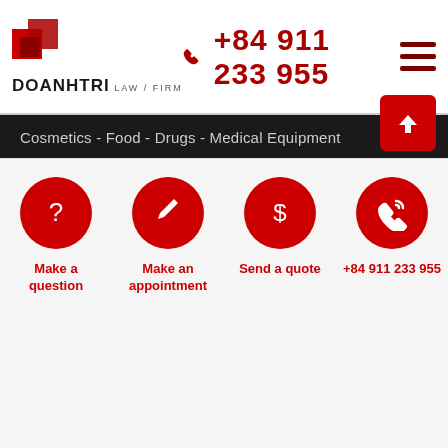[Figure (logo): Doanhtri Law Firm logo with red squares and firm name]
+84 911 233 955
Cosmetics - Food - Drugs - Medical Equipment
PEOPLE
Lawyers
Associates
Paralegals
RESOURCES
Investment consulting
Business and Trade
Intellectual Property
Make a question
Make an appointment
Send a quote
+84 911 233 955